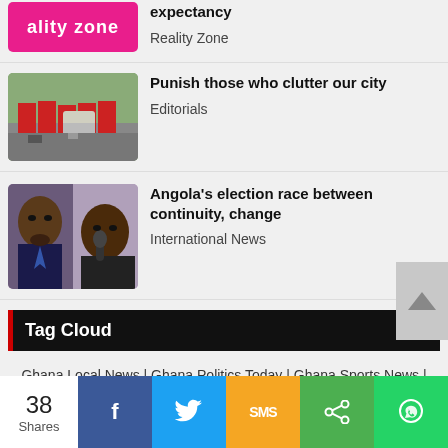[Figure (photo): Partial pink banner with white text 'ality zone' visible at top]
expectancy
Reality Zone
[Figure (photo): Street scene with billboards and vehicles]
Punish those who clutter our city
Editorials
[Figure (photo): Two men's faces side by side - political figures for Angola election article]
Angola's election race between continuity, change
International News
Tag Cloud
Ghana Local News | Ghana Politics Today | Ghana Sports News | Ghana Business news | Entertainment | Ghana Event Photos |
38 Shares